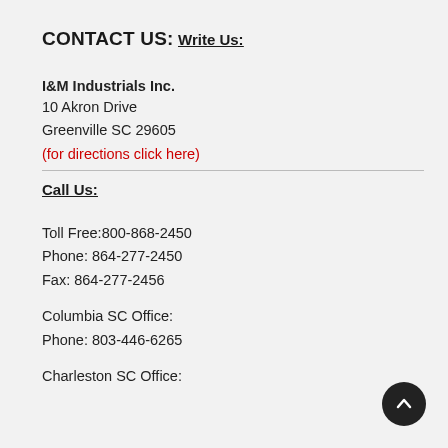CONTACT US:
Write Us:
I&M Industrials Inc.
10 Akron Drive
Greenville SC 29605
(for directions click here)
Call Us:
Toll Free:800-868-2450
Phone: 864-277-2450
Fax: 864-277-2456
Columbia SC Office:
Phone: 803-446-6265
Charleston SC Office: